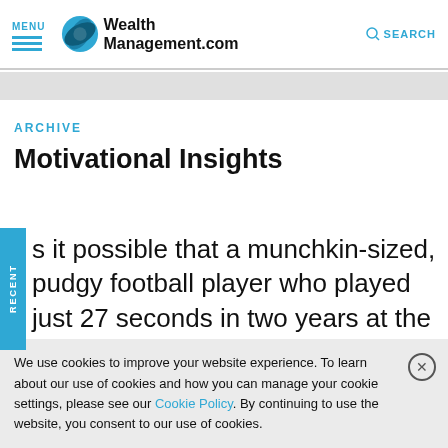MENU | WealthManagement.com | SEARCH
ARCHIVE
Motivational Insights
Is it possible that a munchkin-sized, pudgy football player who played just 27 seconds in two years at the University of Notre Dame
We use cookies to improve your website experience. To learn about our use of cookies and how you can manage your cookie settings, please see our Cookie Policy. By continuing to use the website, you consent to our use of cookies.